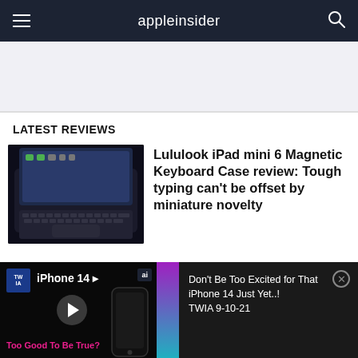appleinsider
[Figure (other): Advertisement banner area, light gray background]
LATEST REVIEWS
[Figure (photo): iPad mini 6 with Lululook magnetic keyboard case, dark background]
Lululook iPad mini 6 Magnetic Keyboard Case review: Tough typing can't be offset by miniature novelty
[Figure (screenshot): Video thumbnail showing iPhone 14 promo with 'Too Good To Be True?' text and play button overlay. Adjacent panel shows: Don't Be Too Excited for That iPhone 14 Just Yet..! TWIA 9-10-21]